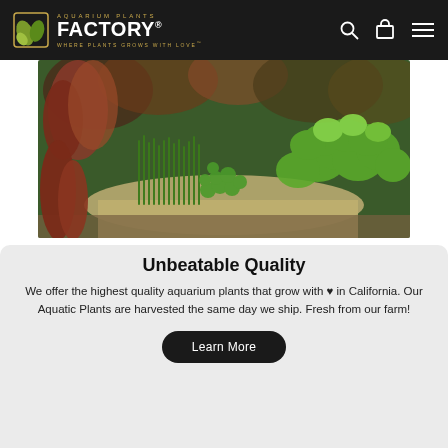AQUARIUM PLANTS FACTORY. WHERE PLANTS GROWS WITH LOVE
[Figure (photo): Aquarium tank with lush green aquatic plants including grass-like plants, red/brown leafy plants, and bushy green plants on a sandy substrate]
Unbeatable Quality
We offer the highest quality aquarium plants that grow with ♥ in California. Our Aquatic Plants are harvested the same day we ship. Fresh from our farm!
Learn More